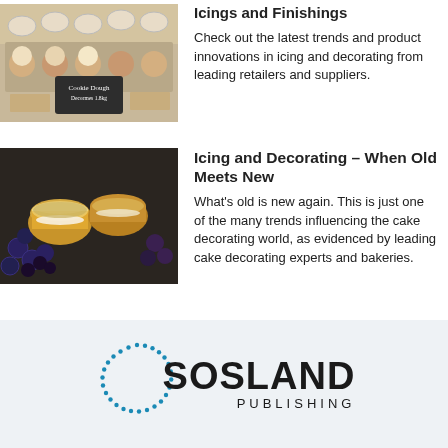[Figure (photo): Cupcakes and desserts in cups on a display table with a chalkboard sign reading Cookie Dough]
Icings and Finishings
Check out the latest trends and product innovations in icing and decorating from leading retailers and suppliers.
[Figure (photo): Golden mini cakes or tarts with cream filling, topped with oats, surrounded by blueberries and blackberries]
Icing and Decorating - When Old Meets New
What's old is new again. This is just one of the many trends influencing the cake decorating world, as evidenced by leading cake decorating experts and bakeries.
[Figure (logo): Sosland Publishing logo with dotted circle and bold SOSLAND text with PUBLISHING subtitle]